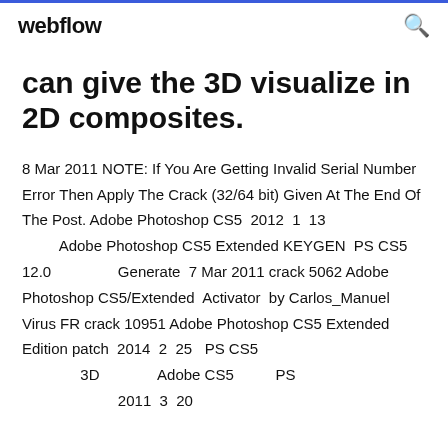webflow
can give the 3D visualize in 2D composites.
8 Mar 2011 NOTE: If You Are Getting Invalid Serial Number Error Then Apply The Crack (32/64 bit) Given At The End Of The Post. Adobe Photoshop CS5  2012  1  13
        Adobe Photoshop CS5 Extended KEYGEN  PS CS5 12.0                Generate  7 Mar 2011 crack 5062 Adobe Photoshop CS5/Extended  Activator  by Carlos_Manuel Virus FR crack 10951 Adobe Photoshop CS5 Extended Edition patch  2014  2  25   PS CS5
             3D              Adobe CS5          PS
                        2011  3  20